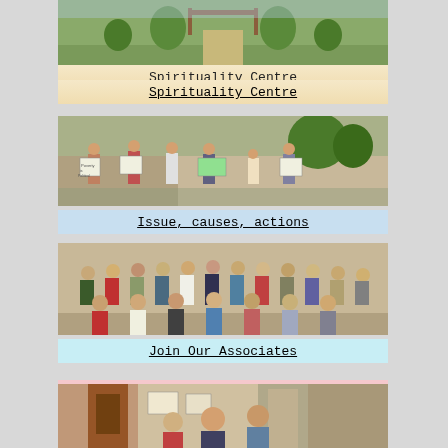[Figure (photo): Photo of a garden/grounds area with a gazebo or pergola, trees, and shrubs — Spirituality Centre exterior]
Spirituality Centre
[Figure (photo): Group of people standing outdoors holding protest signs including 'Poverty is Political' — Issue, causes, actions]
Issue, causes, actions
[Figure (photo): Large group of women posing together indoors for a group photo — Join Our Associates]
Join Our Associates
[Figure (photo): Partial photo at bottom of page showing people outdoors near a building]